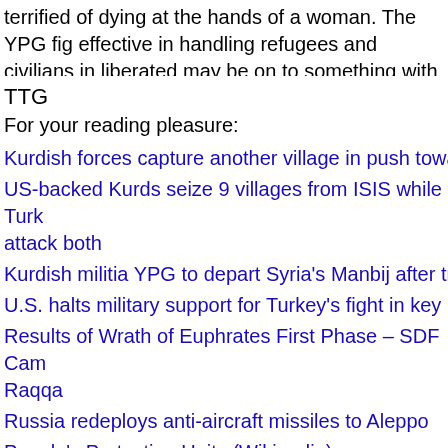...terrified of dying at the hands of a woman. The YPG figured out how to be effective in handling refugees and civilians in liberated areas. They may be on to something with their approach to the military...
TTG
For your reading pleasure:
Kurdish forces capture another village in push towards...
US-backed Kurds seize 9 villages from ISIS while Turk... attack both
Kurdish militia YPG to depart Syria's Manbij after traini...
U.S. halts military support for Turkey's fight in key Islam...
Results of Wrath of Euphrates First Phase – SDF Cam... Raqqa
Russia redeploys anti-aircraft missiles to Aleppo
People's Protection Units (Wikipedia)
Kurdish People's Protection Unit YPG (Global Security...)
YPG Rules of Procedure...